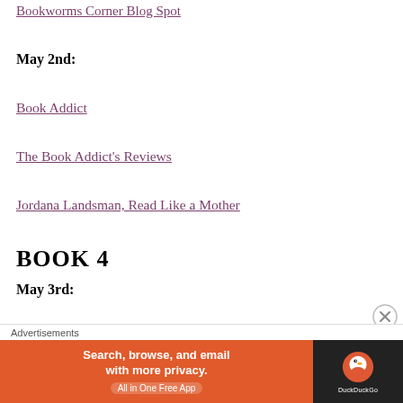Bookworms Corner Blog Spot
May 2nd:
Book Addict
The Book Addict's Reviews
Jordana Landsman, Read Like a Mother
BOOK 4
May 3rd:
[Figure (screenshot): DuckDuckGo advertisement banner: orange background with text 'Search, browse, and email with more privacy. All in One Free App' alongside DuckDuckGo logo on dark background. Labeled 'Advertisements'.]